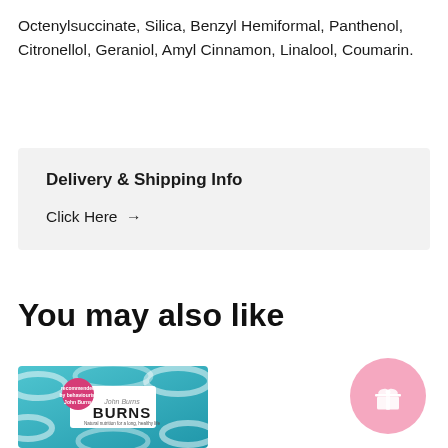Octenylsuccinate, Silica, Benzyl Hemiformal, Panthenol, Citronellol, Geraniol, Amyl Cinnamon, Linalool, Coumarin.
Delivery & Shipping Info
Click Here →
You may also like
[Figure (photo): Burns pet food product packaging — teal/turquoise box with white swirl pattern and Burns brand label in center, with a magenta circular badge in the top-left corner]